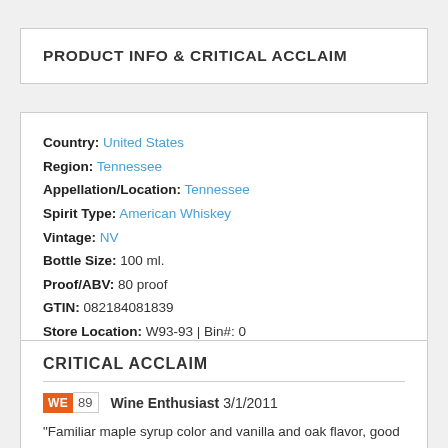PRODUCT INFO & CRITICAL ACCLAIM
Country: United States
Region: Tennessee
Appellation/Location: Tennessee
Spirit Type: American Whiskey
Vintage: NV
Bottle Size: 100 ml.
Proof/ABV: 80 proof
GTIN: 082184081839
Store Location: W93-93 | Bin#: 0
CRITICAL ACCLAIM
WE 89 Wine Enthusiast 3/1/2011
"Familiar maple syrup color and vanilla and oak flavor, good dose of alcohol burn. Finishes relatively dry, with some vanilla and caramel. Jack and Coke is the classic